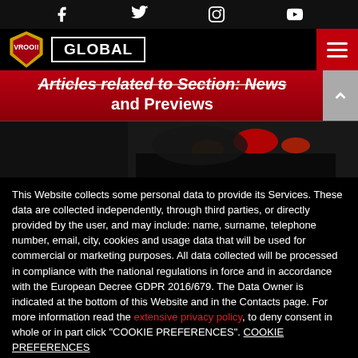Social icons: Facebook, Twitter, Instagram, YouTube
[Figure (screenshot): Navigation bar with VROO logo/shield, GLOBAL label, and hamburger menu button]
Articles related to Section: News and Previews
[Figure (photo): Dark background racing image with red glowing elements]
This Website collects some personal data to provide its Services. These data are collected independently, through third parties, or directly provided by the user, and may include: name, surname, telephone number, email, city, cookies and usage data that will be used for commercial or marketing purposes. All data collected will be processed in compliance with the national regulations in force and in accordance with the European Decree GDPR 2016/679. The Data Owner is indicated at the bottom of this Website and in the Contacts page. For more information read the extensive privacy policy, to deny consent in whole or in part click "COOKIE PREFERENCES". COOKIE PREFERENCES
OK-N engine debuts in first test at Franciacorta
AGREE  No, thanks
WWW.IMRACING.IT